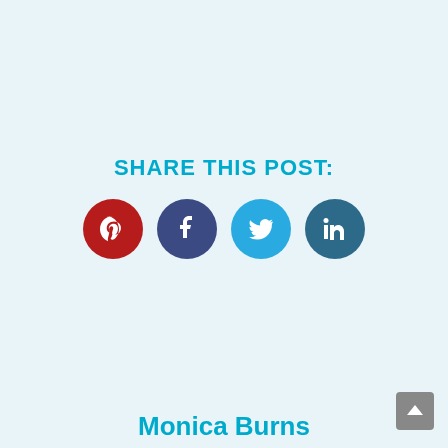SHARE THIS POST:
[Figure (infographic): Four social media share buttons in circles: Pinterest (dark red), Facebook (dark blue-purple), Twitter (light blue), LinkedIn (dark teal)]
Monica Burns